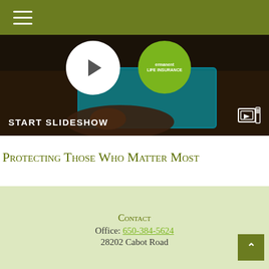Navigation menu header bar
[Figure (screenshot): Dark slideshow thumbnail showing a hand touching a glowing tablet, with a circular play button overlay, a green circular life insurance badge, and 'START SLIDESHOW' label at bottom left with a video icon at bottom right.]
Protecting Those Who Matter Most
The importance of life insurance, how it works, and how much coverage you need.
Contact
Office: 650-384-5624
28202 Cabot Road